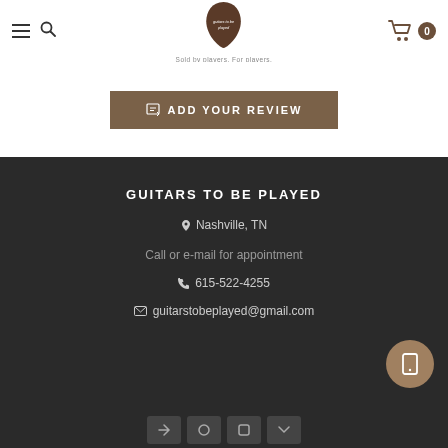Guitars To Be Played — Sold by players. For players. — Cart: 0
ADD YOUR REVIEW
GUITARS TO BE PLAYED
Nashville, TN
Call or e-mail for appointment
615-522-4255
guitarstobeplayed@gmail.com